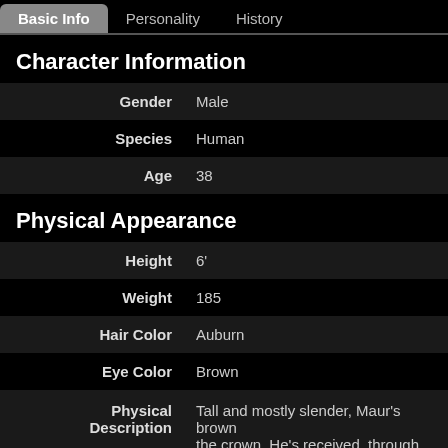Basic Info | Personality | History
Character Information
| Field | Value |
| --- | --- |
| Gender | Male |
| Species | Human |
| Age | 38 |
Physical Appearance
| Field | Value |
| --- | --- |
| Height | 6' |
| Weight | 185 |
| Hair Color | Auburn |
| Eye Color | Brown |
| Physical Description | Tall and mostly slender, Maur's brown... the crown. He's received, through his injuries...almost all from his first tour o |
F...